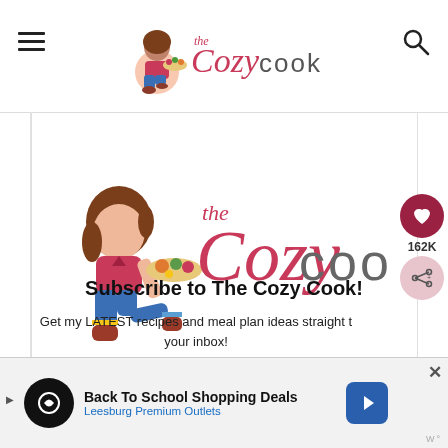The Cozy Cook - header with logo, hamburger menu, and search icon
[Figure (logo): The Cozy Cook logo with illustrated woman holding food tray, large version in main content area]
Subscribe to The Cozy Cook!
Get my LATEST recipes and meal plan ideas straight to your inbox!
[Figure (infographic): Advertisement banner: Back To School Shopping Deals - Leesburg Premium Outlets with navigation arrow badge]